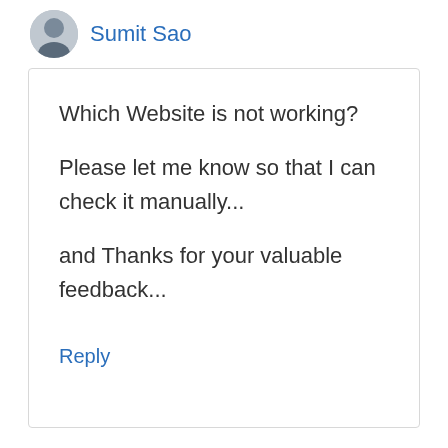Sumit Sao
Which Website is not working?

Please let me know so that I can check it manually...

and Thanks for your valuable feedback...
Reply